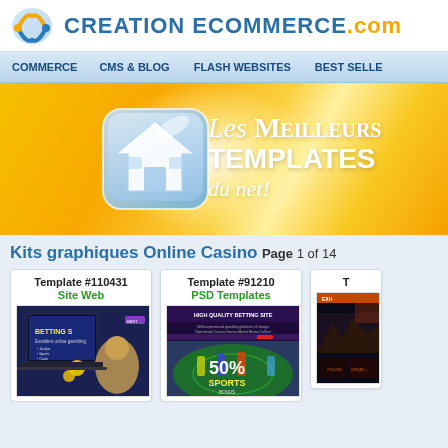CREATION ECOMMERCE.com
COMMERCE | CMS & BLOG | FLASH WEBSITES | BEST SELLE
[Figure (illustration): Banner with house icon and text: Les Meilleurs Templates du net!]
Kits graphiques Online Casino
Page 1 of 14
[Figure (screenshot): Template #110431 Site Web - Betting site template thumbnail]
[Figure (screenshot): Template #91210 PSD Templates - High Quality Betting Site template thumbnail]
[Figure (screenshot): Partial template thumbnail on right edge]